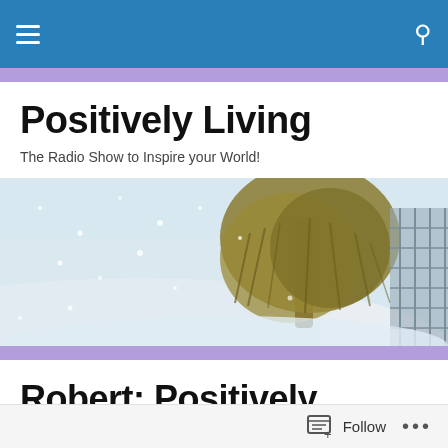Navigation bar with hamburger menu and search icon
Positively Living
The Radio Show to Inspire your World!
[Figure (photo): Hero image of a willow tree in a snowy winter landscape with snowflakes falling]
Robert: Positively Living: Adult or Grown Child, Which are you?
Follow